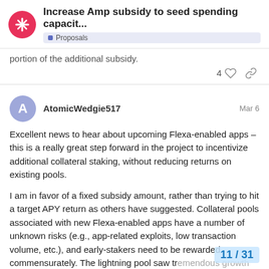Increase Amp subsidy to seed spending capacit... | Proposals
portion of the additional subsidy.
4 ♡ 🔗
AtomicWedgie517   Mar 6
Excellent news to hear about upcoming Flexa-enabled apps – this is a really great step forward in the project to incentivize additional collateral staking, without reducing returns on existing pools.
I am in favor of a fixed subsidy amount, rather than trying to hit a target APY return as others have suggested. Collateral pools associated with new Flexa-enabled apps have a number of unknown risks (e.g., app-related exploits, low transaction volume, etc.), and early-stakers need to be rewarded commensurately. The lightning pool saw tr a result of disproportionately high returns. with the lightning pool, the largest ta
11 / 31